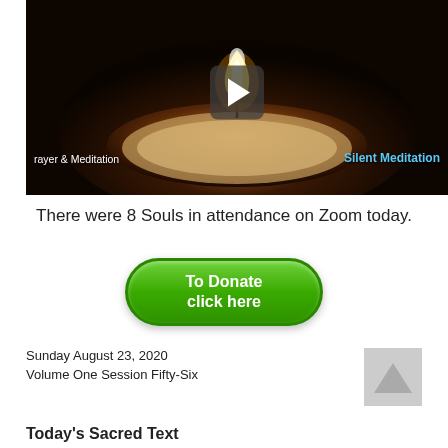[Figure (screenshot): Video thumbnail showing a lit candle on dark background with a play button overlay. Bottom-left text reads 'rayer & Meditation' and bottom-right reads 'Silent Meditation' in blue.]
There were 8 Souls in attendance on Zoom today.
[Figure (other): Green rounded rectangle donate button with white text 'To Donate click here']
Sunday August 23, 2020
Volume One Session Fifty-Six
[Figure (logo): Light gray placeholder logo thumbnail in upper right area]
Today's Sacred Text